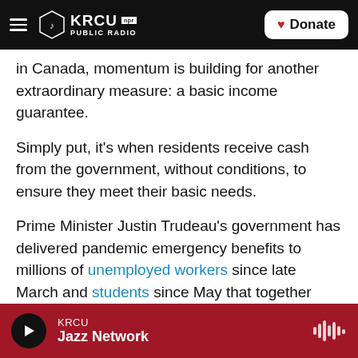KRCU NPR PUBLIC RADIO | Donate
in Canada, momentum is building for another extraordinary measure: a basic income guarantee.
Simply put, it's when residents receive cash from the government, without conditions, to ensure they meet their basic needs.
Prime Minister Justin Trudeau's government has delivered pandemic emergency benefits to millions of unemployed workers since late March and students since May that together totaled more than $60 billion.
KRCU Jazz Network